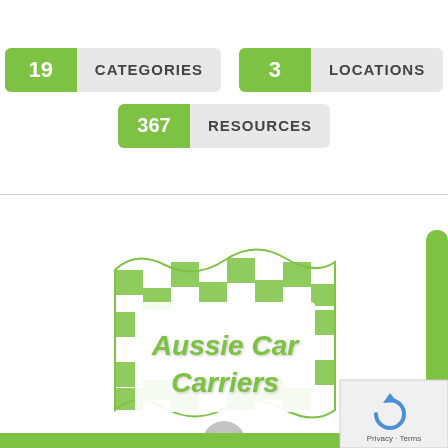[Figure (infographic): Three badge-style statistics widgets: '19 CATEGORIES', '3 LOCATIONS', and '367 RESOURCES', each with a green number badge on the left and a light grey label on the right.]
[Figure (logo): Aussie Car Carriers logo: a checkered green and white banner/flag shape with 'Aussie Car Carriers' text in green italic font, partially visible truck/carrier graphic and a green sidebar and bottom bar. A reCAPTCHA widget with 'Privacy · Terms' text appears in the bottom right corner.]